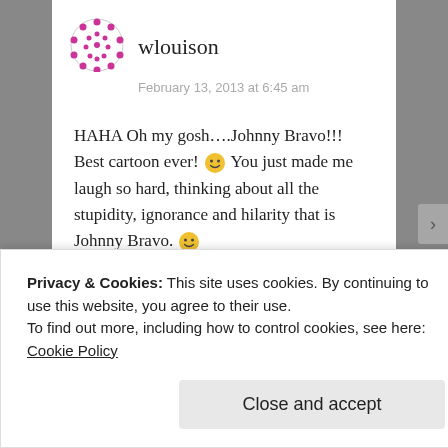[Figure (logo): Pink/magenta dotted circular avatar icon for user wlouison]
wlouison
February 13, 2013 at 6:45 am
HAHA Oh my gosh....Johnny Bravo!!! Best cartoon ever! 😀 You just made me laugh so hard, thinking about all the stupidity, ignorance and hilarity that is Johnny Bravo. 😀
[Figure (other): Partial advertisement banner: '— same page is easy. And free.' with REPORT THIS AD label]
Privacy & Cookies: This site uses cookies. By continuing to use this website, you agree to their use.
To find out more, including how to control cookies, see here: Cookie Policy
Close and accept